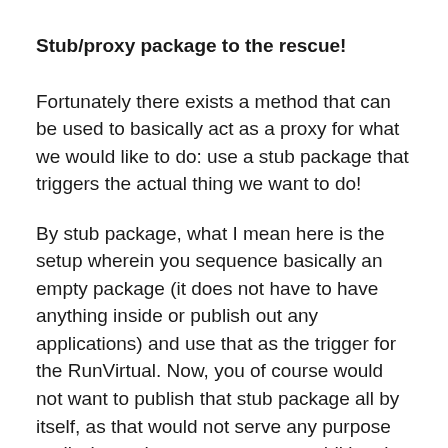Stub/proxy package to the rescue!
Fortunately there exists a method that can be used to basically act as a proxy for what we would like to do: use a stub package that triggers the actual thing we want to do!
By stub package, what I mean here is the setup wherein you sequence basically an empty package (it does not have to have anything inside or publish out any applications) and use that as the trigger for the RunVirtual. Now, you of course would not want to publish that stub package all by itself, as that would not serve any purpose really, but rather to construct an additional Connection Group that lists the packages you would want to be included in to the locally installed application's VE plus the stub package.